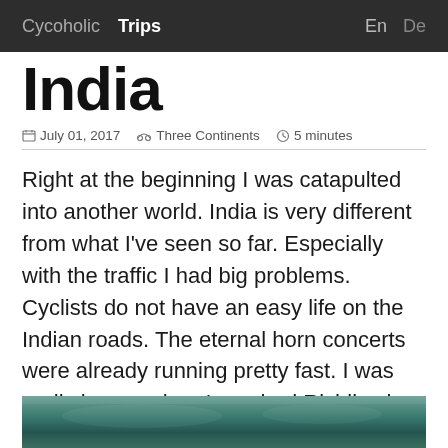Cycoholic  Trips  En  De
India
July 01, 2017  Three Continents  5 minutes
Right at the beginning I was catapulted into another world. India is very different from what I've seen so far. Especially with the traffic I had big problems. Cyclists do not have an easy life on the Indian roads. The eternal horn concerts were already running pretty fast. I was really happy when I reached Rishikesh.
[Figure (photo): Blurred outdoor photo, dark teal/green tones, partially visible at bottom of page]